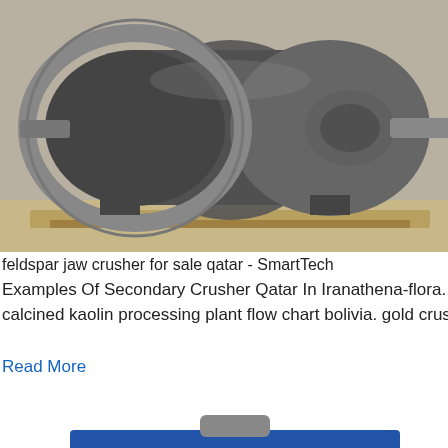[Figure (photo): Industrial ball mill or grinding machine with large gear ring, metal body, mounted on wooden pallets in a factory setting]
feldspar jaw crusher for sale qatar - SmartTech
Examples Of Secondary Crusher Qatar In Iranathena-flora. quartz crusher feldspar crusher. calcined kaolin processing plant flow chart bolivia. gold crushing in indonesia
Read More
[Figure (photo): Blue industrial jaw crusher machine with dark jaw plates, shown at an angle on white background]
feldspar stones for sale - tis-school.it
2021-7-7 · Stone Crusher Price and Grinder for Sale. Nov 15, 2013· Feldspar Stone Processing for Sale in Nigeria Feldspar is the most common ore
[Figure (infographic): Blue advertisement panel: '24/7 hour online' with image of cone crusher machine, 'Click me to chat>>' button, 'Enquiry' section, and 'limingjlmofen' text]